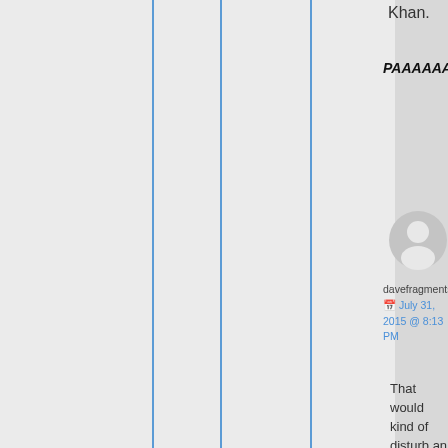Khan.
PAAAAAAAAAUUUUUUUUUL!!!!!
[Figure (illustration): Gray circular avatar/user profile icon with silhouette of a person]
davefragments  📅 July 31, 2015 @ 8:13 PM
That would kind of disturb an entire supermarket. He'd get really strange looks as the lobster tank blew water to the